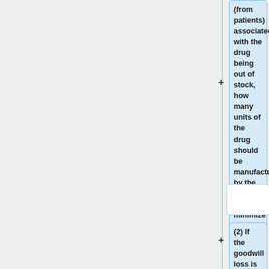(from patients) associated with the drug being out of stock, how many units of the drug should be manufactured by the company to minimize the potential loss?
[Figure (other): Two empty white rounded-rectangle input boxes side by side in a row]
(2) If the goodwill loss is 0.20 per unit of unsatisfied demand, how many units should be produced?
[Figure (other): Two empty white rounded-rectangle input boxes side by side in a row at bottom]